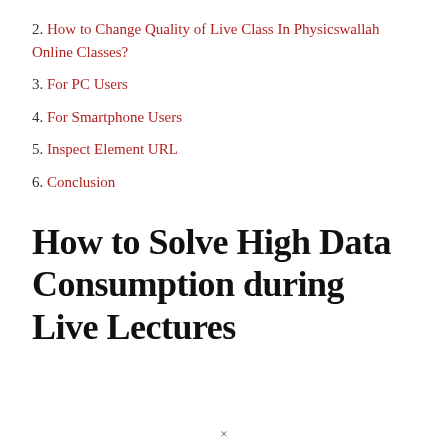2. How to Change Quality of Live Class In Physicswallah Online Classes?
3. For PC Users
4. For Smartphone Users
5. Inspect Element URL
6. Conclusion
How to Solve High Data Consumption during Live Lectures